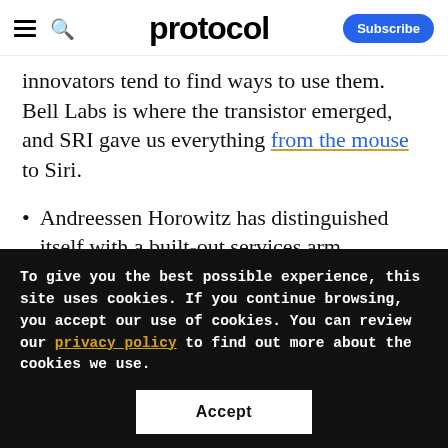protocol — Subscribe
innovators tend to find ways to use them. Bell Labs is where the transistor emerged, and SRI gave us everything from the mouse to Siri.
Andreessen Horowitz has distinguished itself with a built-out services arm, providing help with everything from
To give you the best possible experience, this site uses cookies. If you continue browsing, you accept our use of cookies. You can review our privacy policy to find out more about the cookies we use.
Accept